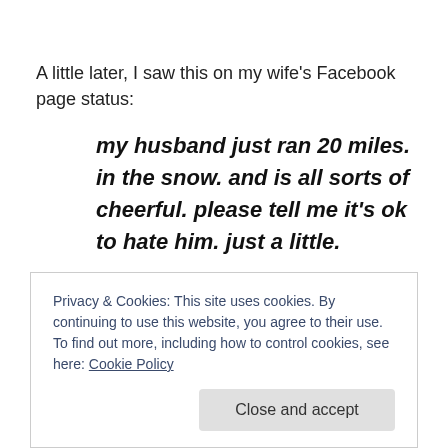A little later, I saw this on my wife's Facebook page status:
my husband just ran 20 miles. in the snow. and is all sorts of cheerful. please tell me it's ok to hate him. just a little.
The thing is, she was right.  I was totally cheerful.  I was beat. Yes.  I was exhausted. Definitely. But I also felt great!  Despite the conditions and the traffic (maybe
Privacy & Cookies: This site uses cookies. By continuing to use this website, you agree to their use.
To find out more, including how to control cookies, see here: Cookie Policy